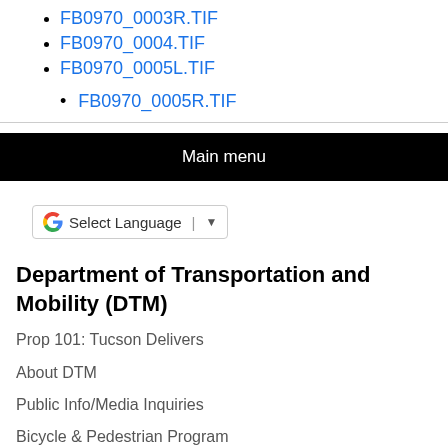FB0970_0003R.TIF
FB0970_0004.TIF
FB0970_0005L.TIF
FB0970_0005R.TIF (truncated)
Main menu
Select Language
Department of Transportation and Mobility (DTM)
Prop 101: Tucson Delivers
About DTM
Public Info/Media Inquiries
Bicycle & Pedestrian Program
Traffic Engineering
Engineering